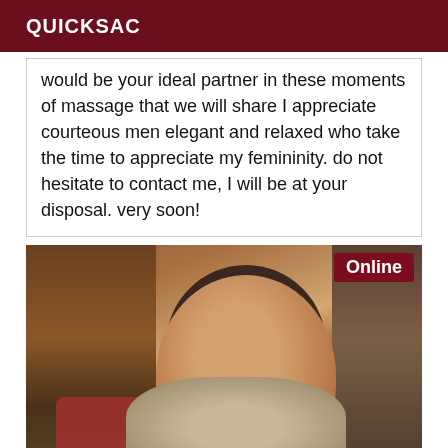QUICKSAC
would be your ideal partner in these moments of massage that we will share I appreciate courteous men elegant and relaxed who take the time to appreciate my femininity. do not hesitate to contact me, I will be at your disposal. very soon!
[Figure (photo): Photo of a middle-aged woman with dark hair pulled up, wearing a beige knit sweater, seated in a room with wooden furniture and a red sofa. An 'Online' badge appears in the top right corner of the image.]